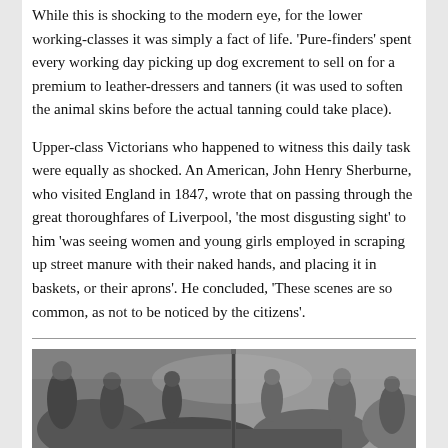While this is shocking to the modern eye, for the lower working-classes it was simply a fact of life. 'Pure-finders' spent every working day picking up dog excrement to sell on for a premium to leather-dressers and tanners (it was used to soften the animal skins before the actual tanning could take place).
Upper-class Victorians who happened to witness this daily task were equally as shocked. An American, John Henry Sherburne, who visited England in 1847, wrote that on passing through the great thoroughfares of Liverpool, 'the most disgusting sight' to him 'was seeing women and young girls employed in scraping up street manure with their naked hands, and placing it in baskets, or their aprons'. He concluded, 'These scenes are so common, as not to be noticed by the citizens'.
[Figure (photo): A black and white historical photograph showing a crowded street scene, likely Victorian-era, with people and piles of goods or debris visible.]